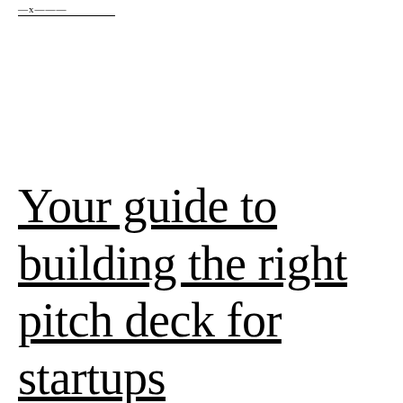—x———
Your guide to building the right pitch deck for startups